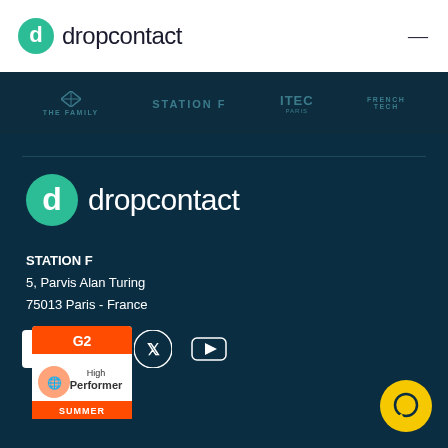dropcontact
[Figure (logo): Dropcontact logo in header with teal circular 'd' icon and 'dropcontact' text]
[Figure (logo): Partner logos bar: The Family, Station F, ITEC Paris, French Tech]
[Figure (logo): Dropcontact footer logo with large teal circular 'd' icon and 'dropcontact' text in white]
STATION F
5, Parvis Alan Turing
75013 Paris - France
[Figure (infographic): Social media icons: Facebook, LinkedIn, Twitter, YouTube in white on dark background]
[Figure (logo): G2 High Performer Summer badge]
[Figure (other): Yellow circular chat button with speech bubble icon]